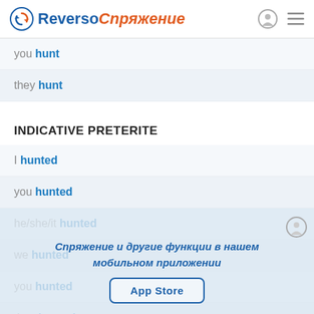Reverso Спряжение
you hunt
they hunt
INDICATIVE PRETERITE
I hunted
you hunted
he/she/it hunted
we hunted
you hunted
they hunted